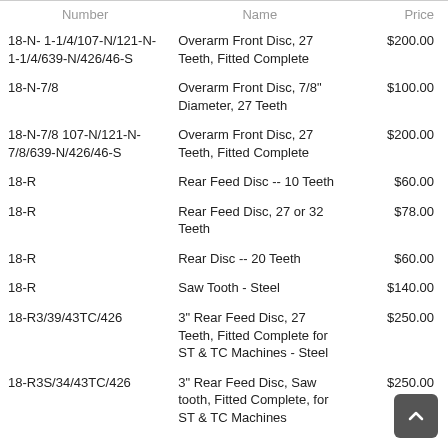| Number | Name | Price |
| --- | --- | --- |
| 18-N- 1-1/4/107-N/121-N-1-1/4/639-N/426/46-S | Overarm Front Disc, 27 Teeth, Fitted Complete | $200.00 |
| 18-N-7/8 | Overarm Front Disc, 7/8" Diameter, 27 Teeth | $100.00 |
| 18-N-7/8 107-N/121-N-7/8/639-N/426/46-S | Overarm Front Disc, 27 Teeth, Fitted Complete | $200.00 |
| 18-R | Rear Feed Disc -- 10 Teeth | $60.00 |
| 18-R | Rear Feed Disc, 27 or 32 Teeth | $78.00 |
| 18-R | Rear Disc -- 20 Teeth | $60.00 |
| 18-R | Saw Tooth - Steel | $140.00 |
| 18-R3/39/43TC/426 | 3" Rear Feed Disc, 27 Teeth, Fitted Complete for ST & TC Machines - Steel | $250.00 |
| 18-R3S/34/43TC/426 | 3" Rear Feed Disc, Saw tooth, Fitted Complete, for ST & TC Machines | $250.00 |